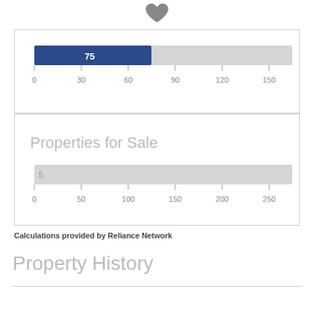[Figure (bar-chart): Properties Sold or Pending]
[Figure (bar-chart): Properties for Sale]
Calculations provided by Reliance Network
Property History